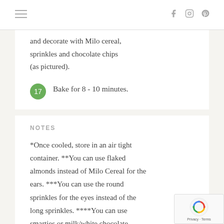Navigation menu and social icons (Facebook, Instagram, Pinterest)
and decorate with Milo cereal, sprinkles and chocolate chips (as pictured).
17. Bake for 8 - 10 minutes.
NOTES
*Once cooled, store in an air tight container. **You can use flaked almonds instead of Milo Cereal for the ears. ***You can use the round sprinkles for the eyes instead of the long sprinkles. ****You can use smarties or milk/white chocolate chips for the nose to make diff